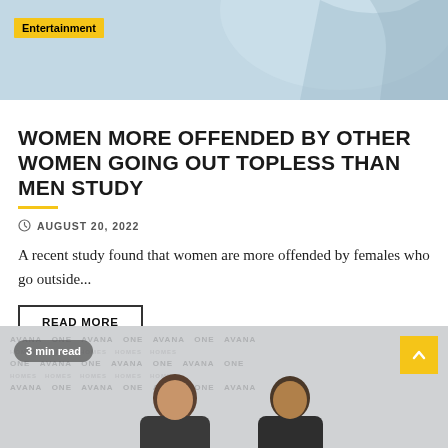[Figure (photo): Top portion of a photo with an 'Entertainment' yellow badge label in the upper left corner. Light blue/grey background visible.]
WOMEN MORE OFFENDED BY OTHER WOMEN GOING OUT TOPLESS THAN MEN STUDY
AUGUST 20, 2022
A recent study found that women are more offended by females who go outside...
READ MORE
[Figure (photo): Photo of two men standing in front of a repeating 'AVANA ONE HOMES' sponsor backdrop. A '3 min read' grey pill badge is overlaid in the upper left, and a yellow upward-arrow scroll-to-top button is in the upper right.]